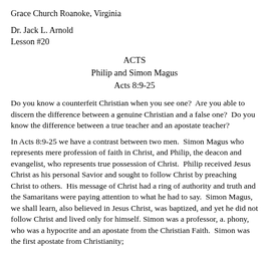Grace Church Roanoke, Virginia
Dr. Jack L. Arnold
Lesson #20
ACTS
Philip and Simon Magus
Acts 8:9-25
Do you know a counterfeit Christian when you see one?  Are you able to discern the difference between a genuine Christian and a false one?  Do you know the difference between a true teacher and an apostate teacher?
In Acts 8:9-25 we have a contrast between two men.  Simon Magus who represents mere profession of faith in Christ, and Philip, the deacon and evangelist, who represents true possession of Christ.  Philip received Jesus Christ as his personal Savior and sought to follow Christ by preaching Christ to others.  His message of Christ had a ring of authority and truth and the Samaritans were paying attention to what he had to say.  Simon Magus, we shall learn, also believed in Jesus Christ, was baptized, and yet he did not follow Christ and lived only for himself. Simon was a professor, a. phony, who was a hypocrite and an apostate from the Christian Faith.  Simon was the first apostate from Christianity;